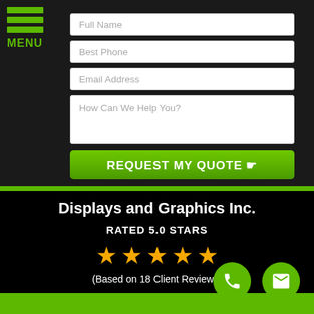[Figure (screenshot): A contact form UI with fields for Full Name, Best Phone, Email Address, How Can We Help You, and a green REQUEST MY QUOTE button. A hamburger menu labeled MENU is in the top-left corner.]
Full Name
Best Phone
Email Address
How Can We Help You?
REQUEST MY QUOTE ☛
Displays and Graphics Inc.
RATED 5.0 STARS
★★★★★
(Based on 18 Client Reviews)